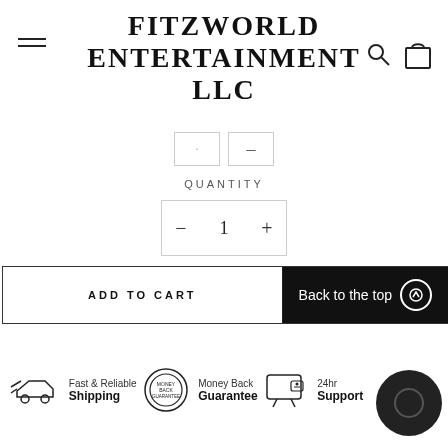FITZWORLD ENTERTAINMENT LLC
QUANTITY
- 1 +
ADD TO CART
Back to the top
[Figure (infographic): Three trust badges: Fast & Reliable Shipping (airplane icon), Money Back Guarantee (stamp icon), and 24hr Support (laptop icon)]